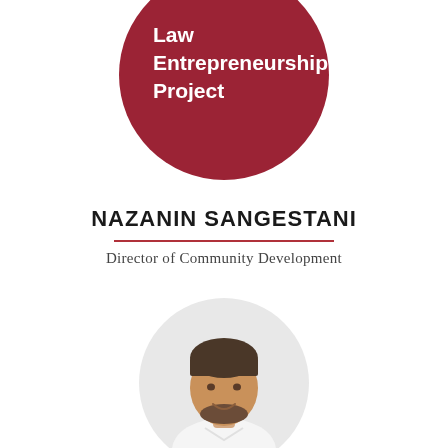[Figure (logo): Dark red circle logo with white text reading 'Law Entrepreneurship Project']
NAZANIN SANGESTANI
Director of Community Development
[Figure (photo): Circular headshot photo of a man with short dark hair and beard, wearing a white shirt, smiling]